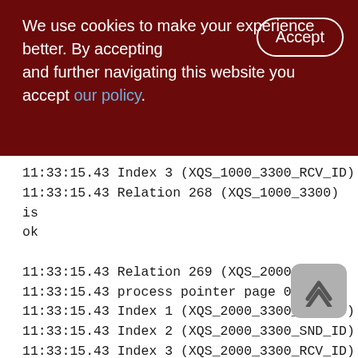We use cookies to make your experience better. By accepting and further navigating this website you accept our policy.
11:33:15.43 Index 3 (XQS_1000_3300_RCV_ID)
11:33:15.43 Relation 268 (XQS_1000_3300) is ok

11:33:15.43 Relation 269 (XQS_2000_3300)
11:33:15.43 process pointer page 0 of 1
11:33:15.43 Index 1 (XQS_2000_3300_DOC_ID)
11:33:15.43 Index 2 (XQS_2000_3300_SND_ID)
11:33:15.43 Index 3 (XQS_2000_3300_RCV_ID)
11:33:15.43 Relation 269 (XQS_2000_3300) is ok

11:33:15.43 Relation 270 (XQS_2100_3300)